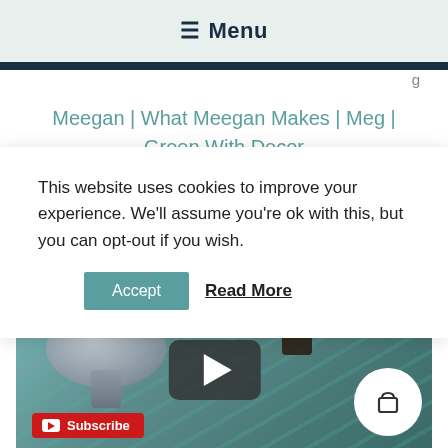☰ Menu
g
Meegan | What Meegan Makes | Meg | Green With Decor
This website uses cookies to improve your experience. We'll assume you're ok with this, but you can opt-out if you wish.
Accept  Read More
[Figure (video-thumbnail): Video thumbnail showing a silver bowl/candlestick on a teal/green painted surface, with a play button overlay, a YouTube Subscribe badge, and a shopping bag icon button.]